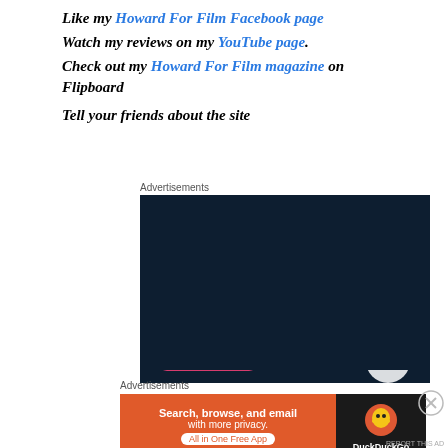Like my Howard For Film Facebook page
Watch my reviews on my YouTube page.
Check out my Howard For Film magazine on Flipboard
Tell your friends about the site
Advertisements
[Figure (screenshot): WordPress advertisement: dark navy background with WordPress logo (W in circle), text 'Opinions. We all have them!']
Advertisements
[Figure (screenshot): DuckDuckGo advertisement: 'Search, browse, and email with more privacy. All in One Free App' on orange background with DuckDuckGo duck logo on dark background]